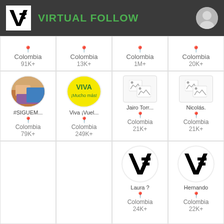VIRTUAL FOLLOW
Colombia 91K+
Colombia 13K+
Colombia 1M+
Colombia 20K+
#SIGUEM... Colombia 79K+
Viva ¡Vuel... Colombia 249K+
Jairo Torr... Colombia 21K+
Nicolás. Colombia 21K+
Laura ? Colombia 24K+
Hernando Colombia 22K+